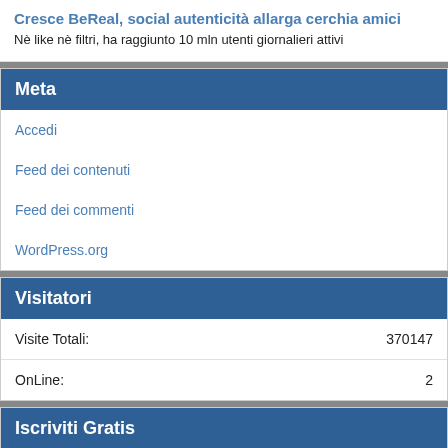Cresce BeReal, social autenticità allarga cerchia amici
Nè like nè filtri, ha raggiunto 10 mln utenti giornalieri attivi
Meta
Accedi
Feed dei contenuti
Feed dei commenti
WordPress.org
Visitatori
Visite Totali: 370147
OnLine: 2
Iscriviti Gratis
Iscriviti alla nostra newsletter e vi terremo informati: